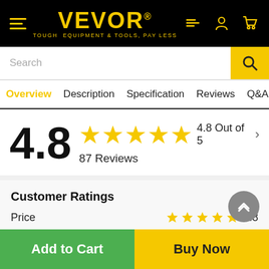VEVOR® TOUGH EQUIPMENT & TOOLS, PAY LESS
Search
Overview  Description  Specification  Reviews  Q&A  Reco
4.8 Out of 5
87 Reviews
Customer Ratings
Price  4.8
Quality  4.5
Features  4.7
Add to Cart
Buy Now